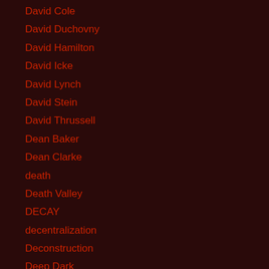David Cole
David Duchovny
David Hamilton
David Icke
David Lynch
David Stein
David Thrussell
Dean Baker
Dean Clarke
death
Death Valley
DECAY
decentralization
Deconstruction
Deep Dark